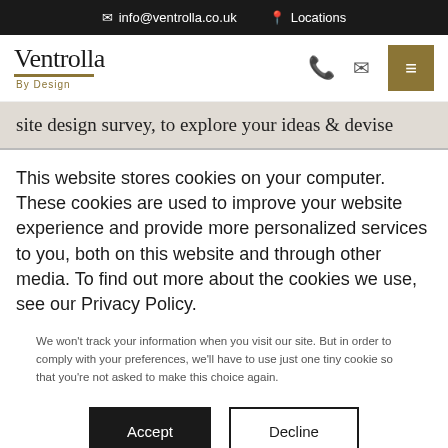✉ info@ventrolla.co.uk   📍 Locations
[Figure (logo): Ventrolla By Design logo with gold underline]
site design survey, to explore your ideas & devise
This website stores cookies on your computer. These cookies are used to improve your website experience and provide more personalized services to you, both on this website and through other media. To find out more about the cookies we use, see our Privacy Policy.
We won't track your information when you visit our site. But in order to comply with your preferences, we'll have to use just one tiny cookie so that you're not asked to make this choice again.
Accept   Decline